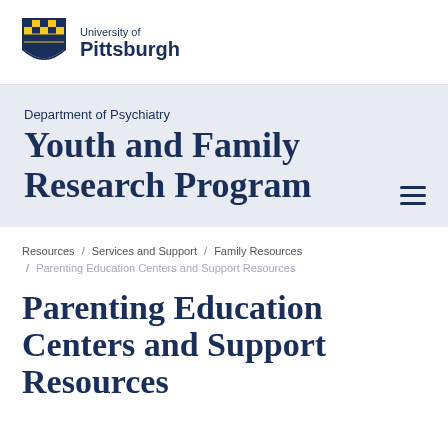[Figure (logo): University of Pittsburgh shield logo with text 'University of Pittsburgh']
Department of Psychiatry
Youth and Family Research Program
Resources / Services and Support / Family Resources / Parenting Education Centers and Support Resources
Parenting Education Centers and Support Resources